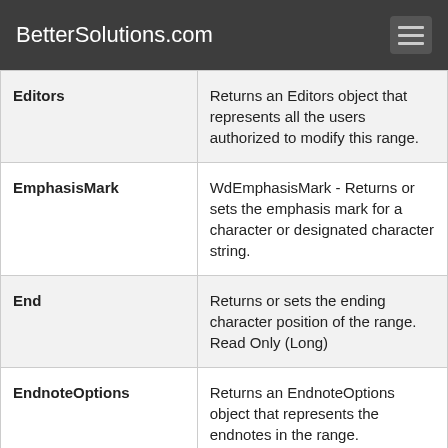BetterSolutions.com
| Property | Description |
| --- | --- |
| Editors | Returns an Editors object that represents all the users authorized to modify this range. |
| EmphasisMark | WdEmphasisMark - Returns or sets the emphasis mark for a character or designated character string. |
| End | Returns or sets the ending character position of the range. Read Only (Long) |
| EndnoteOptions | Returns an EndnoteOptions object that represents the endnotes in the range. |